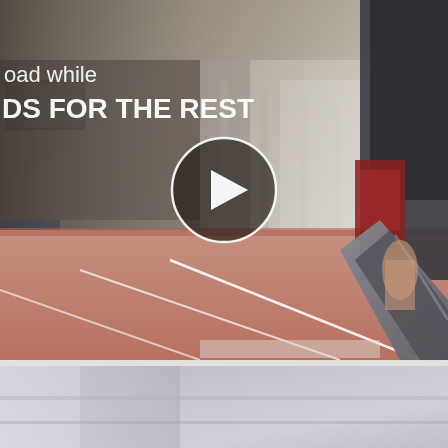[Figure (screenshot): Video thumbnail showing an athlete (para-athlete with prosthetic blade) running on an indoor athletics track. The image is blurred/motion-style. White text in the upper left reads 'oad while' on one line and 'DS FOR THE REST' in bold on a second line. A circular play button with a white triangle is centered in the upper portion of the image. The background shows an indoor stadium with seating and structural supports. The lower portion shows the red running track with white lane markings.]
[Figure (photo): Partially visible photograph at the bottom of the page, showing what appears to be a blurred grey/silver surface, only the top portion visible.]